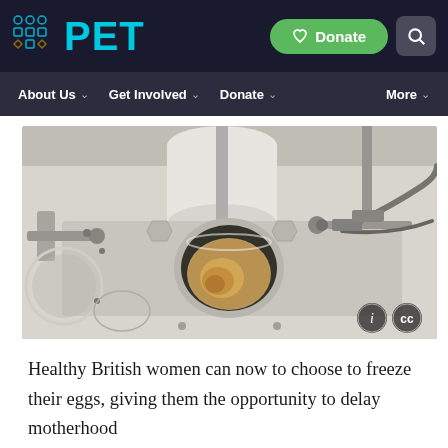[Figure (screenshot): PET website header with logo, Donate button, and search icon on dark navy background]
[Figure (screenshot): Navigation bar with About Us, Get Involved, Donate, and More menu items on dark background]
[Figure (photo): Close-up photograph of laboratory IVF/microscopy equipment showing a petri dish with eggs under a microscope with mechanical arms and tubing, with info (i) and CC license icons in lower right corner]
Healthy British women can now to choose to freeze their eggs, giving them the opportunity to delay motherhood